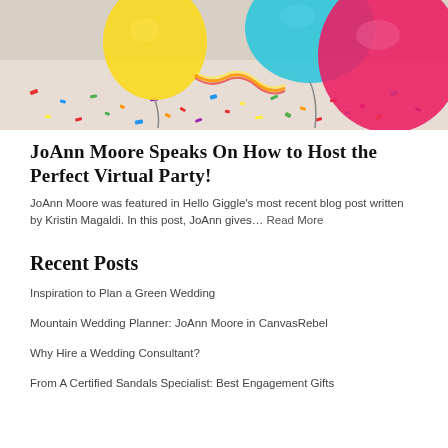[Figure (photo): Colorful balloons and confetti on a white surface — party scene with yellow, teal, and pink balloons amid scattered multi-colored confetti]
JoAnn Moore Speaks On How to Host the Perfect Virtual Party!
JoAnn Moore was featured in Hello Giggle's most recent blog post written by Kristin Magaldi. In this post, JoAnn gives… Read More
Recent Posts
Inspiration to Plan a Green Wedding
Mountain Wedding Planner: JoAnn Moore in CanvasRebel
Why Hire a Wedding Consultant?
From A Certified Sandals Specialist: Best Engagement Gifts